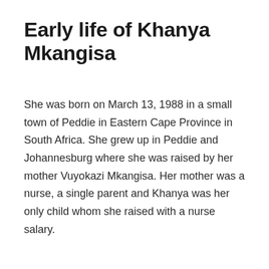Early life of Khanya Mkangisa
She was born on March 13, 1988 in a small town of Peddie in Eastern Cape Province in South Africa. She grew up in Peddie and Johannesburg where she was raised by her mother Vuyokazi Mkangisa. Her mother was a nurse, a single parent and Khanya was her only child whom she raised with a nurse salary.